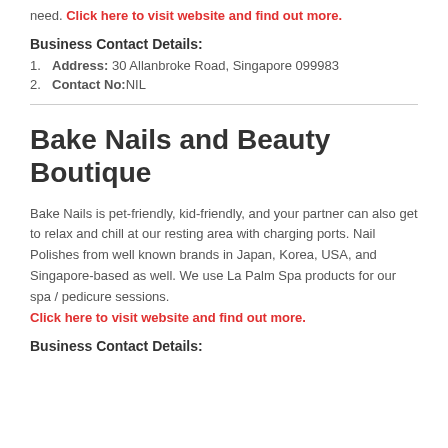need. Click here to visit website and find out more.
Business Contact Details:
Address: 30 Allanbroke Road, Singapore 099983
Contact No:NIL
Bake Nails and Beauty Boutique
Bake Nails is pet-friendly, kid-friendly, and your partner can also get to relax and chill at our resting area with charging ports. Nail Polishes from well known brands in Japan, Korea, USA, and Singapore-based as well. We use La Palm Spa products for our spa / pedicure sessions. Click here to visit website and find out more.
Business Contact Details: